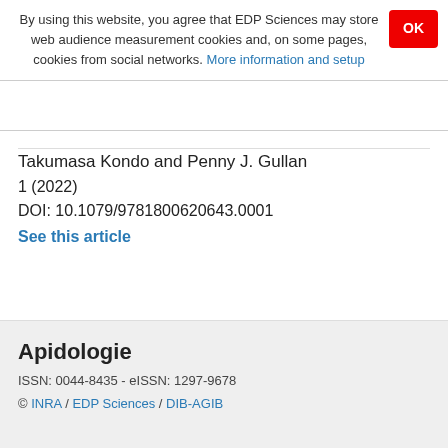By using this website, you agree that EDP Sciences may store web audience measurement cookies and, on some pages, cookies from social networks. More information and setup
Takumasa Kondo and Penny J. Gullan
1 (2022)
DOI: 10.1079/9781800620643.0001
See this article
Apidologie
ISSN: 0044-8435 - eISSN: 1297-9678
© INRA / EDP Sciences / DIB-AGIB